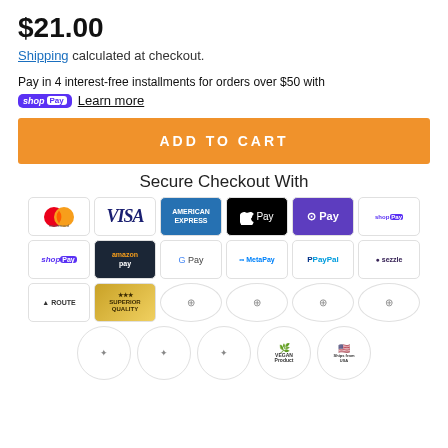$21.00
Shipping calculated at checkout.
Pay in 4 interest-free installments for orders over $50 with shop Pay  Learn more
ADD TO CART
Secure Checkout With
[Figure (infographic): Payment method logos: Mastercard, Visa, American Express, Apple Pay, G Pay (purple), Shop Pay; second row: Shop Pay, Amazon Pay, Google Pay, MetaPay, PayPal, Sezzle; third row: Route, Superior Quality badge, and 4 circular trust badge icons; fourth row: 5 circular badge icons including Vegan Product and Ships from USA]